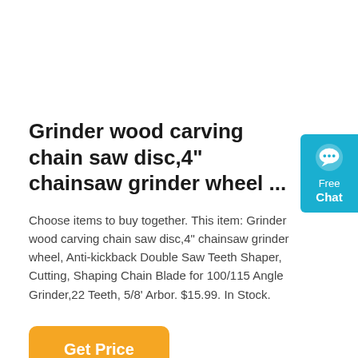Grinder wood carving chain saw disc,4" chainsaw grinder wheel ...
Choose items to buy together. This item: Grinder wood carving chain saw disc,4" chainsaw grinder wheel, Anti-kickback Double Saw Teeth Shaper, Cutting, Shaping Chain Blade for 100/115 Angle Grinder,22 Teeth, 5/8' Arbor. $15.99. In Stock.
[Figure (other): Blue chat widget with speech bubble icon, 'Free Chat' text]
Get Price